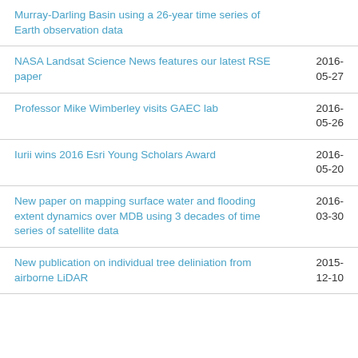Murray-Darling Basin using a 26-year time series of Earth observation data
NASA Landsat Science News features our latest RSE paper	2016-05-27
Professor Mike Wimberley visits GAEC lab	2016-05-26
Iurii wins 2016 Esri Young Scholars Award	2016-05-20
New paper on mapping surface water and flooding extent dynamics over MDB using 3 decades of time series of satellite data	2016-03-30
New publication on individual tree deliniation from airborne LiDAR	2015-12-10